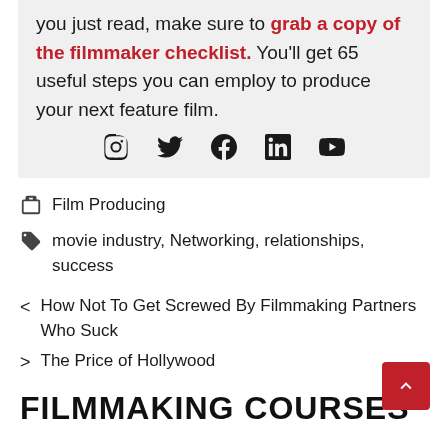you just read, make sure to grab a copy of the filmmaker checklist. You'll get 65 useful steps you can employ to produce your next feature film.
[Figure (other): Social media icons: Instagram, Twitter, Facebook, LinkedIn, YouTube]
Film Producing
movie industry, Networking, relationships, success
< How Not To Get Screwed By Filmmaking Partners Who Suck
> The Price of Hollywood
FILMMAKING COURSES